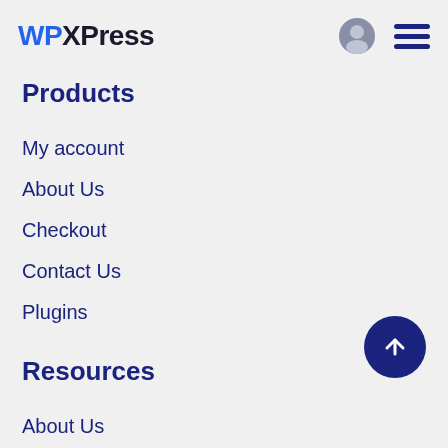WPXPress [user icon] [menu icon]
Products
My account
About Us
Checkout
Contact Us
Plugins
Resources
About Us
My account
Themes